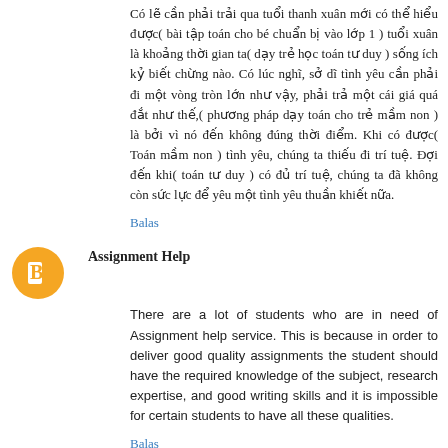Có lẽ cần phải trải qua tuổi thanh xuân mới có thể hiểu được( bài tập toán cho bé chuẩn bị vào lớp 1 ) tuổi xuân là khoảng thời gian ta( dạy trẻ học toán tư duy ) sống ích kỷ biết chừng nào. Có lúc nghĩ, sở dĩ tình yêu cần phải đi một vòng tròn lớn như vậy, phải trả một cái giá quá đắt như thế,( phương pháp dạy toán cho trẻ mầm non ) là bởi vì nó đến không đúng thời điểm. Khi có được( Toán mầm non ) tình yêu, chúng ta thiếu đi trí tuệ. Đợi đến khi( toán tư duy ) có đủ trí tuệ, chúng ta đã không còn sức lực để yêu một tình yêu thuần khiết nữa.
Balas
Assignment Help
There are a lot of students who are in need of Assignment help service. This is because in order to deliver good quality assignments the student should have the required knowledge of the subject, research expertise, and good writing skills and it is impossible for certain students to have all these qualities.
Balas
Kristy Murphy
I am really happy to say it's an interesting post to read. I learn new information from your article, you are doing a great job. Keep it up.
Online Assignment Help